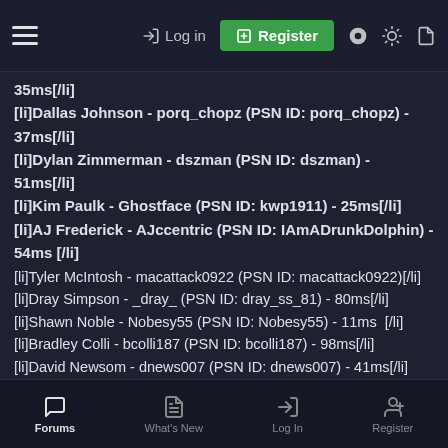Log in | Register
35ms[/li]
[li]Dallas Johnson - porq_chopz (PSN ID: porq_chopz) - 37ms[/li]
[li]Dylan Zimmerman - dszman (PSN ID: dszman) - 51ms[/li]
[li]Kim Paulk - Ghostface (PSN ID: kwp1911) - 25ms[/li]
[li]AJ Frederick - AJccentric (PSN ID: IAmADrunkDolphin) - 54ms [/li]
[li]Tyler McIntosh - macattack0922 (PSN ID: macattack0922)[/li]
[li]Dray Simpson - _dray_ (PSN ID: dray_ss_81) - 80ms[/li]
[li]Shawn Noble - Nobesy55 (PSN ID: Nobesy55) - 11ms  [/li]
[li]Bradley Colli - bcolli187 (PSN ID: bcolli187) - 98ms[/li]
[li]David Newsom - dnews007 (PSN ID: dnews007) - 41ms[/li]
[li]Ranga Thor - ranga (PSN ID: ranga55) - 30ms[/li]
[li]Adam Helmsing - alhelm519 (PSN ID: pointers70tigers) - 77ms[/li]
[li]Cameron Epiion - Cameps (PSN ID: cameps) - 44ms [/li]
Forums | What's New | Log In | Register